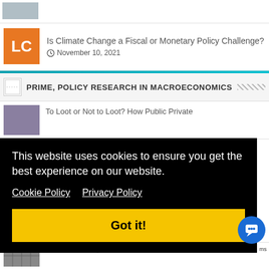[Figure (photo): Partial photo of a person in a suit at the top of the page]
[Figure (illustration): Orange square thumbnail with white letters LC]
Is Climate Change a Fiscal or Monetary Policy Challenge?
November 10, 2021
PRIME, POLICY RESEARCH IN MACROECONOMICS
[Figure (photo): Purple/mauve colored article thumbnail]
To Loot or Not to Loot? How Public Private
019 to
This website uses cookies to ensure you get the best experience on our website. Cookie Policy Privacy Policy Got it!
[Figure (photo): Newspaper/financial imagery at bottom]
Central bankers, inflation cousins & the fear
ms